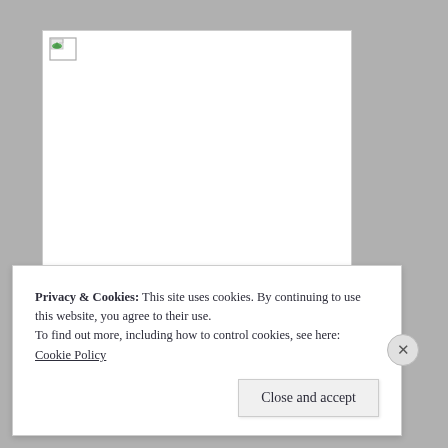[Figure (other): White document page with a broken/placeholder image icon in the top-left corner]
Privacy & Cookies: This site uses cookies. By continuing to use this website, you agree to their use.
To find out more, including how to control cookies, see here: Cookie Policy
Close and accept